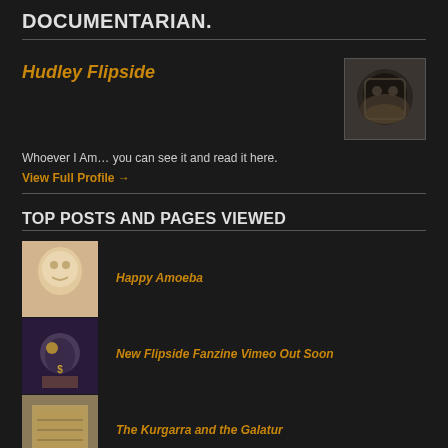DOCUMENTARIAN.
Hudley Flipside
[Figure (photo): Profile photo of person wearing a dark face mask]
Whoever I Am… you can see it and read it here.
View Full Profile →
TOP POSTS AND PAGES VIEWED
[Figure (illustration): Thumbnail illustration for Happy Amoeba post - face sketch]
Happy Amoeba
[Figure (illustration): Thumbnail for New Flipside Fanzine Vimeo Out Soon]
New Flipside Fanzine Vimeo Out Soon
[Figure (photo): Thumbnail for The Kurgarra and the Galatur - ancient tablet]
The Kurgarra and the Galatur
[Figure (illustration): Thumbnail for Inanna's Trinity - colorful abstract]
Inanna's Trinity
Astraea: "Iam redit et virgo, redeunt Saturnia Regna"